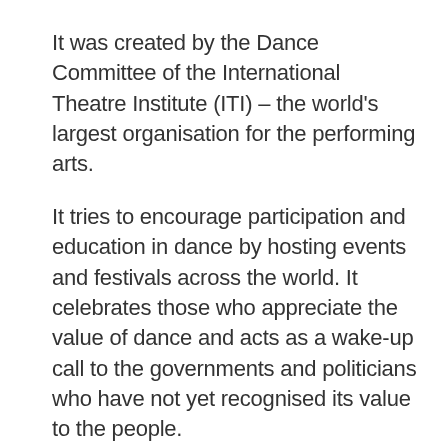It was created by the Dance Committee of the International Theatre Institute (ITI) – the world's largest organisation for the performing arts.
It tries to encourage participation and education in dance by hosting events and festivals across the world. It celebrates those who appreciate the value of dance and acts as a wake-up call to the governments and politicians who have not yet recognised its value to the people.